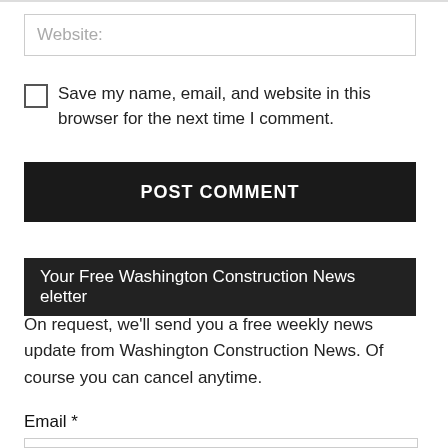Website:
Save my name, email, and website in this browser for the next time I comment.
POST COMMENT
Your Free Washington Construction News eletter
On request, we'll send you a free weekly news update from Washington Construction News. Of course you can cancel anytime.
Email *